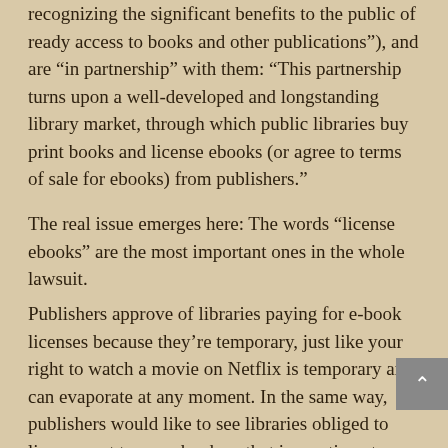recognizing the significant benefits to the public of ready access to books and other publications"), and are “in partnership” with them: “This partnership turns upon a well-developed and longstanding library market, through which public libraries buy print books and license ebooks (or agree to terms of sale for ebooks) from publishers.”
The real issue emerges here: The words “license ebooks” are the most important ones in the whole lawsuit.
Publishers approve of libraries paying for e-book licenses because they’re temporary, just like your right to watch a movie on Netflix is temporary and can evaporate at any moment. In the same way, publishers would like to see libraries obliged to license, not to own, books—that is, continue to pay for the same book again and again. That’s what this lawsuit is